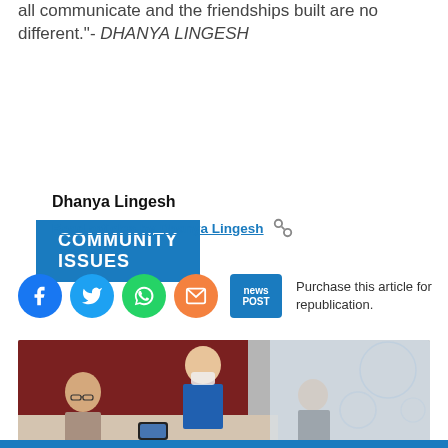all communicate and the friendships built are no different."- DHANYA LINGESH
COMMUNITY ISSUES
Dhanya Lingesh
Read articles by Dhanya Lingesh
[Figure (infographic): Social media share icons: Facebook (blue circle), Twitter (blue circle), WhatsApp (green circle), Email (orange circle), News Post button (blue rectangle). Text reads: Purchase this article for republication.]
[Figure (photo): A woman in a blue polo shirt and face mask leans over a table helping an older man with glasses look at a smartphone. Another person is seated to the right. There is a dark red curtain in the background.]